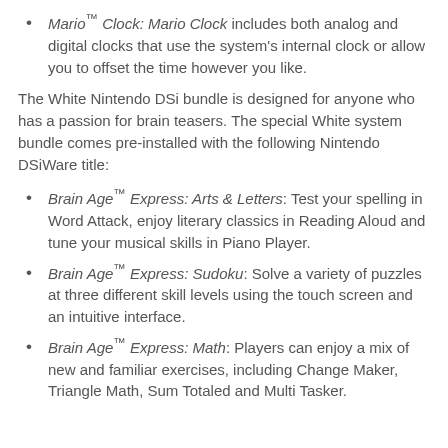Mario™ Clock: Mario Clock includes both analog and digital clocks that use the system's internal clock or allow you to offset the time however you like.
The White Nintendo DSi bundle is designed for anyone who has a passion for brain teasers. The special White system bundle comes pre-installed with the following Nintendo DSiWare title:
Brain Age™ Express: Arts & Letters: Test your spelling in Word Attack, enjoy literary classics in Reading Aloud and tune your musical skills in Piano Player.
Brain Age™ Express: Sudoku: Solve a variety of puzzles at three different skill levels using the touch screen and an intuitive interface.
Brain Age™ Express: Math: Players can enjoy a mix of new and familiar exercises, including Change Maker, Triangle Math, Sum Totaled and Multi Tasker.